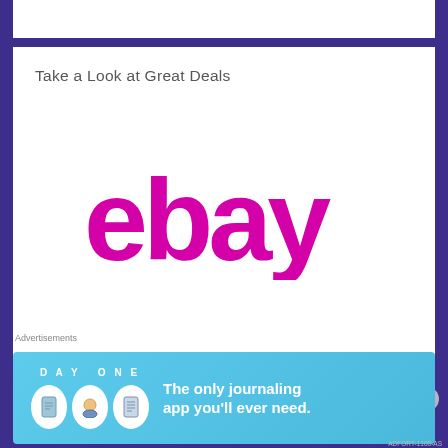Take a Look at Great Deals
[Figure (logo): eBay logo in magenta/pink color on white background]
Advertisements
[Figure (infographic): Day One journaling app advertisement banner. Shows 'DAY ONE' title with icons and text: 'The only journaling app you'll ever need.']